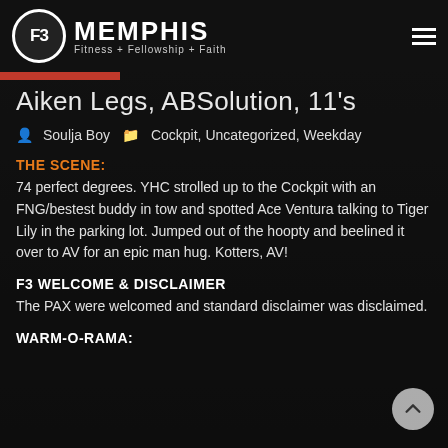F3 MEMPHIS — Fitness + Fellowship + Faith
Aiken Legs, ABSolution, 11's
Soulja Boy   Cockpit, Uncategorized, Weekday
THE SCENE:
74 perfect degrees. YHC strolled up to the Cockpit with an FNG/bestest buddy in tow and spotted Ace Ventura talking to Tiger Lily in the parking lot. Jumped out of the hoopty and beelined it over to AV for an epic man hug. Kotters, AV!
F3 WELCOME & DISCLAIMER
The PAX were welcomed and standard disclaimer was disclaimed.
WARM-O-RAMA: